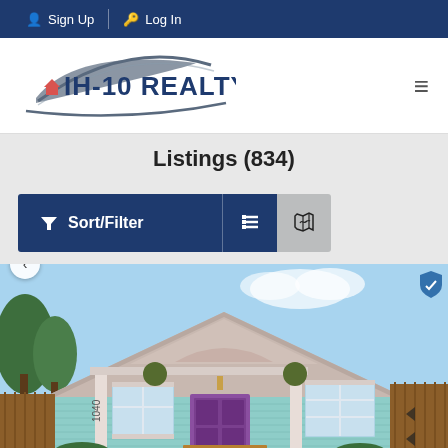Sign Up | Log In
[Figure (logo): IH-10 Realty logo with swoosh arc above text and small house icon]
Listings (834)
Sort/Filter button, list view button, map view button
[Figure (photo): Exterior photo of a light blue/teal craftsman-style house with white trim, covered front porch, wooden front steps, hanging plants, and address number 1040 visible on the porch post]